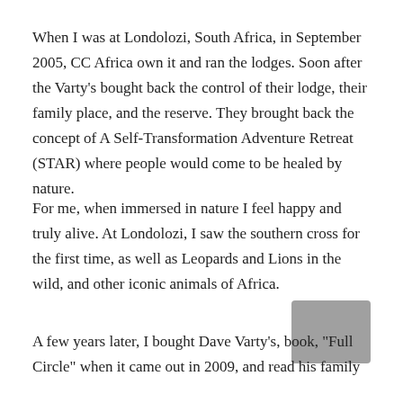When I was at Londolozi, South Africa, in September 2005, CC Africa own it and ran the lodges. Soon after the Varty's bought back the control of their lodge, their family place, and the reserve. They brought back the concept of A Self-Transformation Adventure Retreat (STAR) where people would come to be healed by nature.
For me, when immersed in nature I feel happy and truly alive. At Londolozi, I saw the southern cross for the first time, as well as Leopards and Lions in the wild, and other iconic animals of Africa.
A few years later, I bought Dave Varty's, book, "Full Circle" when it came out in 2009, and read his family